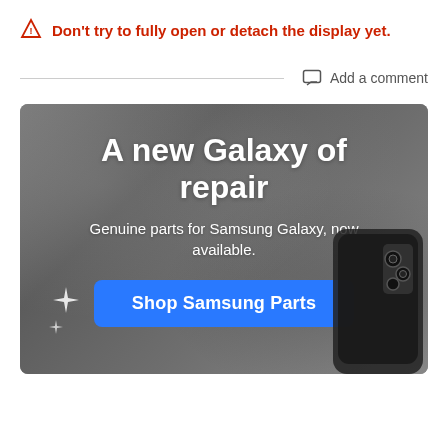Don't try to fully open or detach the display yet.
Add a comment
[Figure (infographic): Advertisement banner with concrete-textured gray background. Large white bold text reads 'A new Galaxy of repair'. Subtitle: 'Genuine parts for Samsung Galaxy, now available.' Blue button labeled 'Shop Samsung Parts'. Bottom right shows a Samsung Galaxy phone. Bottom left shows sparkle star decorations.]